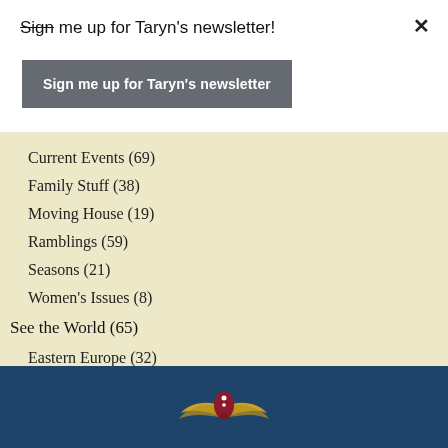Sign me up for Taryn's newsletter!
Sign me up for Taryn's newsletter
Current Events (69)
Family Stuff (38)
Moving House (19)
Ramblings (59)
Seasons (21)
Women's Issues (8)
See the World (65)
Eastern Europe (32)
Travel & Adventure (39)
[Figure (logo): Website logo with winged emblem on dark blue background]